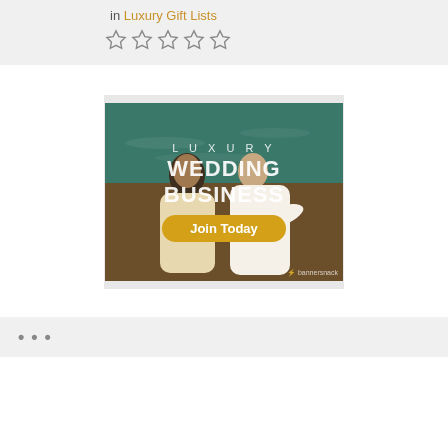in Luxury Gift Lists
[Figure (other): Five empty star rating icons]
[Figure (illustration): Advertisement banner for Luxury Wedding Business showing a couple on a beach with text LUXURY WEDDING BUSINESS and a Join Today button. Bannersnack watermark visible.]